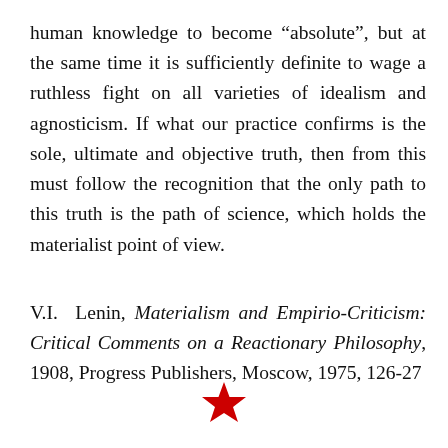human knowledge to become “absolute”, but at the same time it is sufficiently definite to wage a ruthless fight on all varieties of idealism and agnosticism. If what our practice confirms is the sole, ultimate and objective truth, then from this must follow the recognition that the only path to this truth is the path of science, which holds the materialist point of view.
V.I. Lenin, Materialism and Empirio-Criticism: Critical Comments on a Reactionary Philosophy, 1908, Progress Publishers, Moscow, 1975, 126-27
[Figure (illustration): A red five-pointed star symbol centered at the bottom of the page.]